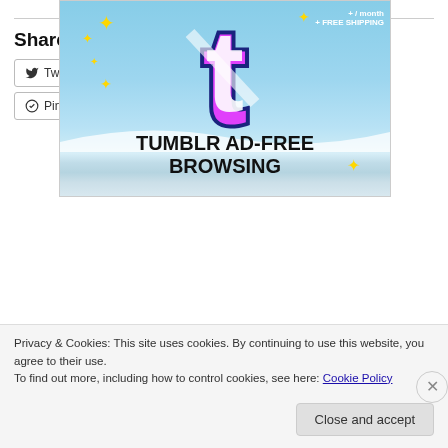[Figure (illustration): Tumblr ad-free browsing advertisement showing a colorful letter T with sparkle stars on a sky blue background, with 'TUMBLR AD-FREE BROWSING' text and '+ FREE SHIPPING' in the corner]
REPORT THIS AD
Share this:
Twitter  Facebook  Email  Tumblr  Pinterest
Privacy & Cookies: This site uses cookies. By continuing to use this website, you agree to their use.
To find out more, including how to control cookies, see here: Cookie Policy